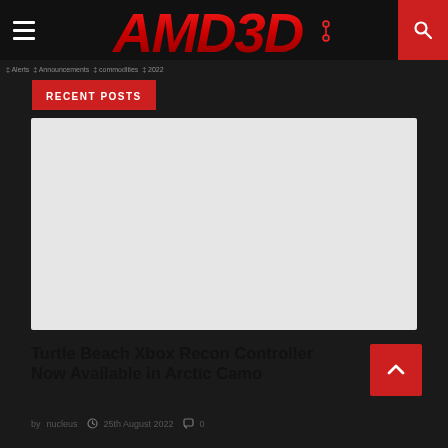AMD3D
RECENT POSTS
[Figure (photo): Blank/placeholder image for article thumbnail]
Turtle Beach Xbox Recon Controller Now Available in Arctic Camo
by nucleus  25th August 2022  0